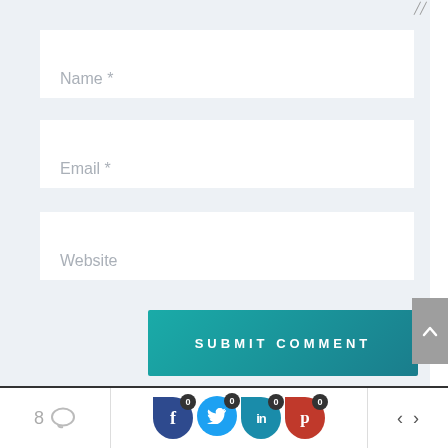[Figure (screenshot): Web form with Name, Email, Website input fields on light blue-gray background]
Name *
Email *
Website
SUBMIT COMMENT
[Figure (infographic): Footer bar with comment count (8), social share icons for Facebook (0), Twitter (0), LinkedIn (0), Pinterest (0), and navigation arrows]